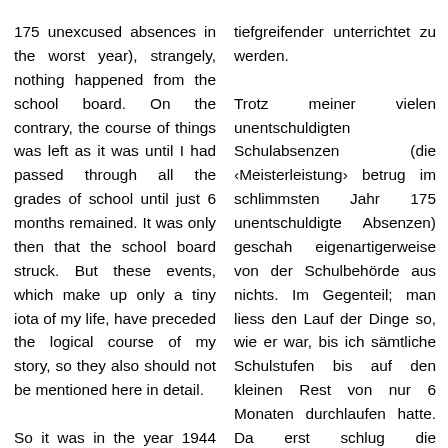175 unexcused absences in the worst year), strangely, nothing happened from the school board. On the contrary, the course of things was left as it was until I had passed through all the grades of school until just 6 months remained. It was only then that the school board struck. But these events, which make up only a tiny iota of my life, have preceded the logical course of my story, so they also should not be mentioned here in detail.
So it was in the year 1944 when Sfath took up telepathic contact with me,
tiefgreifender unterrichtet zu werden.
Trotz meiner vielen unentschuldigten Schulabsenzen (die ‹Meisterleistung› betrug im schlimmsten Jahr 175 unentschuldigte Absenzen) geschah eigenartigerweise von der Schulbehörde aus nichts. Im Gegenteil; man liess den Lauf der Dinge so, wie er war, bis ich sämtliche Schulstufen bis auf den kleinen Rest von nur 6 Monaten durchlaufen hatte. Da erst schlug die Schulbehörde zu. Doch diese Geschehnisse, die nur ein winziges Jota meines